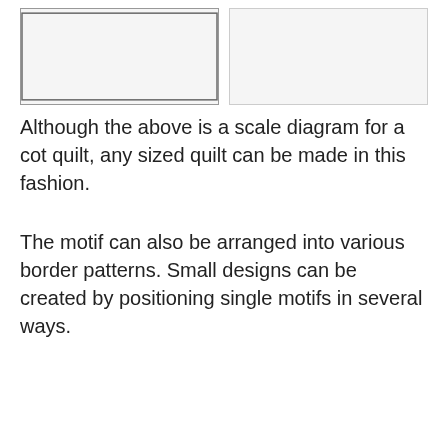[Figure (illustration): Two quilt pattern diagrams showing circular/fan motifs arranged in a grid. Left image has a border; right image has a similar repeating pattern without border.]
Although the above is a scale diagram for a cot quilt, any sized quilt can be made in this fashion.
The motif can also be arranged into various border patterns. Small designs can be created by positioning single motifs in several ways.
[Figure (illustration): Three rows of quilting motif border patterns showing fan/shell shapes arranged in different orientations — upright row, inverted row, and a partially visible third row at bottom.]